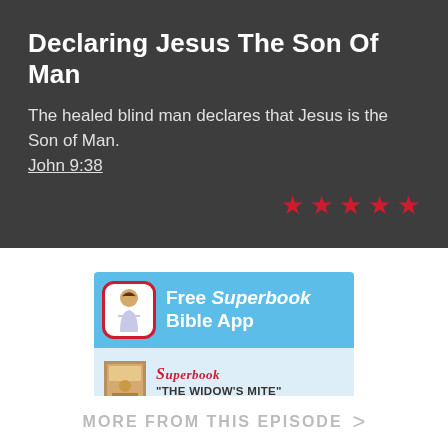Declaring Jesus The Son Of Man
The healed blind man declares that Jesus is the Son of Man.
John 9:38
[Figure (other): Five red star rating icons]
[Figure (infographic): Advertisement banner for Free Superbook Bible App with blue background and app icon showing a figure of Jesus]
[Figure (infographic): Advertisement for Superbook 'The Widow's Mite' with light blue background and book cover thumbnail]
MORE FROM THIS EPISODE  >